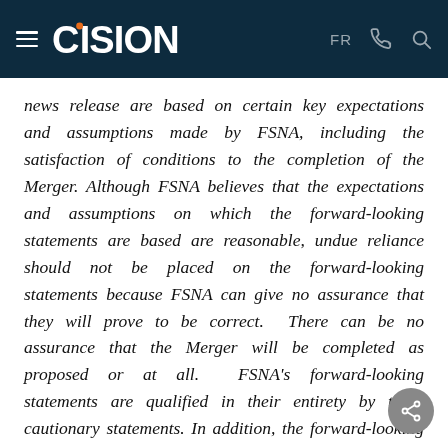CISION — FR [phone] [search]
news release are based on certain key expectations and assumptions made by FSNA, including the satisfaction of conditions to the completion of the Merger. Although FSNA believes that the expectations and assumptions on which the forward-looking statements are based are reasonable, undue reliance should not be placed on the forward-looking statements because FSNA can give no assurance that they will prove to be correct. There can be no assurance that the Merger will be completed as proposed or at all. FSNA's forward-looking statements are qualified in their entirety by these cautionary statements. In addition, the forward-looking statements are made